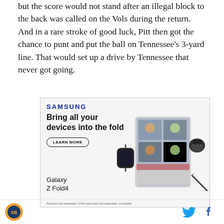but the score would not stand after an illegal block to the back was called on the Vols during the return. And in a rare stroke of good luck, Pitt then got the chance to punt and put the ball on Tennessee's 3-yard line. That would set up a drive by Tennessee that never got going.
[Figure (other): Samsung advertisement for Galaxy Z Fold4. Shows Samsung logo, headline 'Bring all your devices into the fold', a 'LEARN MORE' button, Galaxy Z Fold4 branding, and an illustration of Samsung devices including a phone, tablet, smartwatch, and earbuds with a video call shown on tablet.]
SB Nation logo | Twitter icon | Facebook icon